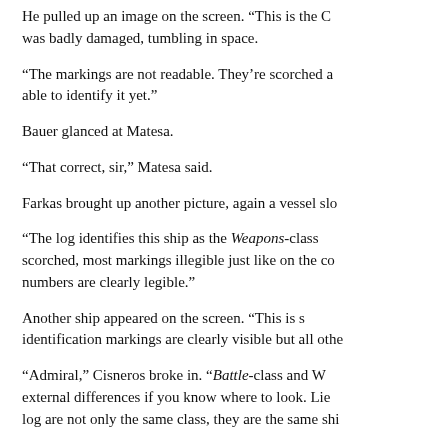He pulled up an image on the screen. “This is the C… was badly damaged, tumbling in space.
“The markings are not readable. They’re scorched a… able to identify it yet.”
Bauer glanced at Matesa.
“That correct, sir,” Matesa said.
Farkas brought up another picture, again a vessel slo…
“The log identifies this ship as the Weapons-class… scorched, most markings illegible just like on the co… numbers are clearly legible.”
Another ship appeared on the screen. “This is s… identification markings are clearly visible but all othe…
“Admiral,” Cisneros broke in. “Battle-class and W… external differences if you know where to look. Lie… log are not only the same class, they are the same shi…
B… Cisneros … “N…